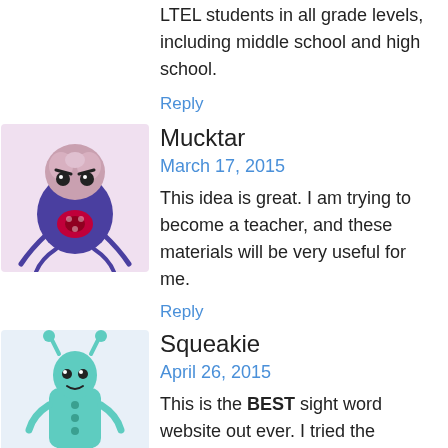LTEL students in all grade levels, including middle school and high school.
Reply
Mucktar
March 17, 2015
This idea is great. I am trying to become a teacher, and these materials will be very useful for me.
Reply
Squeakie
April 26, 2015
This is the BEST sight word website out ever. I tried the teaching technique with my child and within 1 week my child was able to identify 10 sight words error free. I followed the techniques